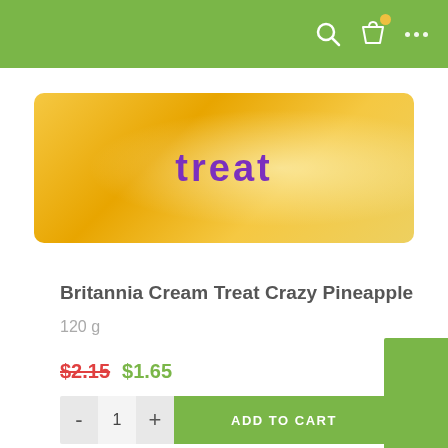Navigation bar with search, cart, and menu icons
[Figure (photo): Britannia Cream Treat Crazy Pineapple biscuit product package in yellow packaging]
Britannia Cream Treat Crazy Pineapple
120 g
$2.15 $1.65
- 1 + ADD TO CART